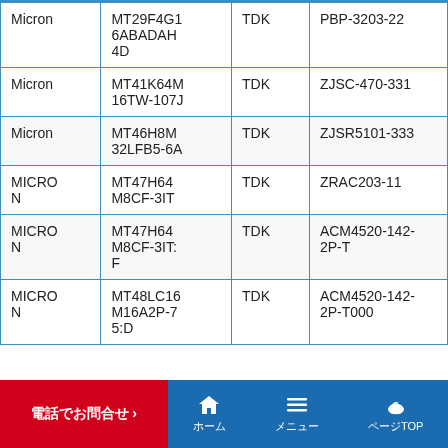| Micron | MT29F4G16ABADAH4D | TDK | PBP-3203-22 |
| Micron | MT41K64M16TW-107J | TDK | ZJSC-470-331 |
| Micron | MT46H8M32LFB5-6A | TDK | ZJSR5101-333 |
| MICRON | MT47H64M8CF-3IT | TDK | ZRAC203-11 |
| MICRON | MT47H64M8CF-3IT:F | TDK | ACM4520-142-2P-T |
| MICRON | MT48LC16M16A2P-75:D | TDK | ACM4520-142-2P-T000 |
電話でお問合せ›  ホーム  メニュー  ページTOP